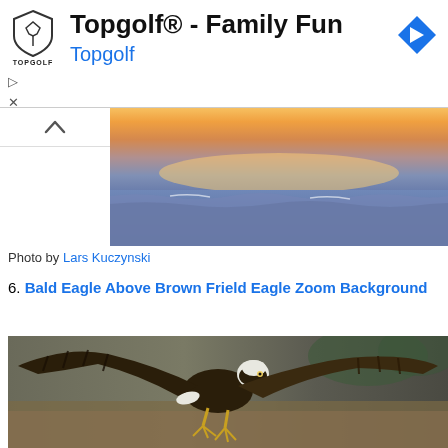[Figure (screenshot): Topgolf advertisement banner with Topgolf shield logo, title 'Topgolf® - Family Fun', subtitle 'Topgolf' in blue, blue navigation arrow icon, and ad controls (play and close buttons)]
[Figure (photo): Partial sunset over ocean waves with warm orange and golden sky, blue-grey water]
Photo by Lars Kuczynski
6. Bald Eagle Above Brown Frield Eagle Zoom Background
[Figure (photo): Bald eagle with wings spread wide, dark brown body with white head and yellow beak, talons visible, flying above a blurred brown field background]